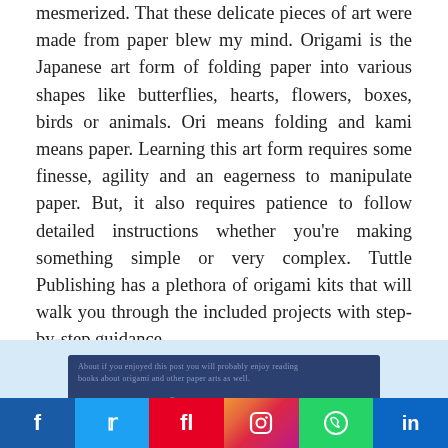mesmerized. That these delicate pieces of art were made from paper blew my mind. Origami is the Japanese art form of folding paper into various shapes like butterflies, hearts, flowers, boxes, birds or animals. Ori means folding and kami means paper. Learning this art form requires some finesse, agility and an eagerness to manipulate paper. But, it also requires patience to follow detailed instructions whether you're making something simple or very complex. Tuttle Publishing has a plethora of origami kits that will walk you through the included projects with step-by-step guidance.
[Figure (screenshot): Light blue background section with a dark blue banner/box containing small text lines and an italic green 'Introverts' text partially visible, plus a social media sharing bar at the bottom with icons for Facebook, Twitter, Pinterest, Instagram, WhatsApp, and LinkedIn.]